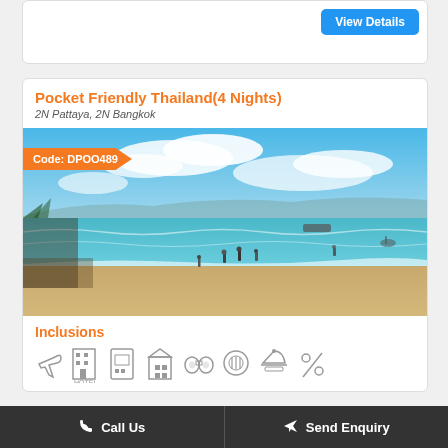[Figure (screenshot): Top card stub with View Details blue button]
Pocket Friendly Thailand(4 Nights)
2N Pattaya, 2N Bangkok
[Figure (photo): Beach scene in Pattaya/Thailand with blue sky, sea, sandy beach and people. Orange badge: Code: DPOO489]
Inclusions
[Figure (infographic): Row of inclusion icons: airplane, hotel/building, sim/phone, attractions, binoculars, meals, room service, percentage/discount]
Call Us    Send Enquiry